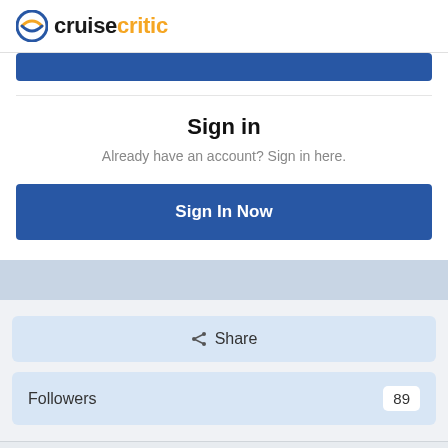cruisecritic
Sign in
Already have an account? Sign in here.
Sign In Now
Share
Followers 89
Go to topic listing